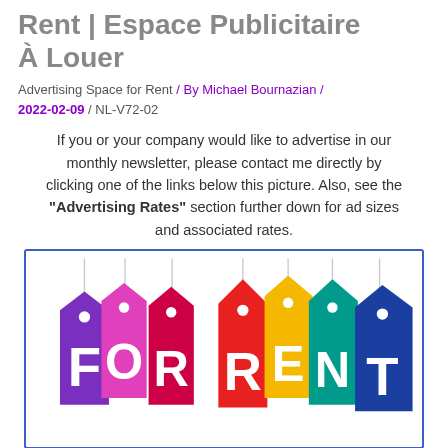Rent | Espace Publicitaire À Louer
Advertising Space for Rent / By Michael Bournazian / 2022-02-09 / NL-V72-02
If you or your company would like to advertise in our monthly newsletter, please contact me directly by clicking one of the links below this picture. Also, see the "Advertising Rates" section further down for ad sizes and associated rates.
[Figure (illustration): Colorful price tag shapes hanging on strings spelling out FOR RENT in white letters on purple, pink, red, orange/yellow, teal, and blue tags]